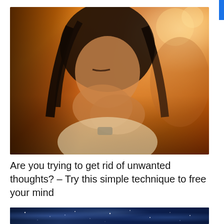[Figure (photo): A young woman with long dark hair sitting with her hands clasped near her face/mouth, appearing worried or anxious. She is wearing a yellow/white top and a dark watch/bracelet. The background has warm orange/amber bokeh lighting suggesting an indoor restaurant or cafe setting.]
Are you trying to get rid of unwanted thoughts? – Try this simple technique to free your mind
[Figure (photo): Partial view of a dark blue/navy image, appears to be a night sky or galaxy background with sparkles/stars.]